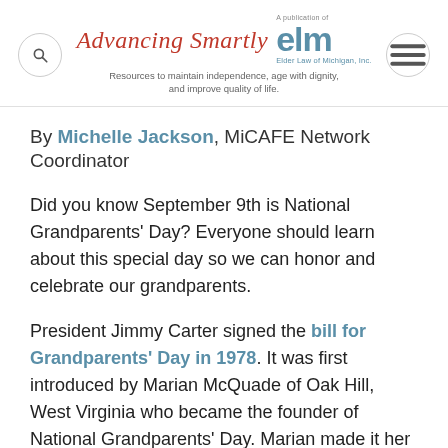Advancing Smartly — A publication of elm, Elder Law of Michigan, Inc. Resources to maintain independence, age with dignity, and improve quality of life.
By Michelle Jackson, MiCAFE Network Coordinator
Did you know September 9th is National Grandparents' Day? Everyone should learn about this special day so we can honor and celebrate our grandparents.
President Jimmy Carter signed the bill for Grandparents' Day in 1978. It was first introduced by Marian McQuade of Oak Hill, West Virginia who became the founder of National Grandparents' Day. Marian made it her goal to educate youth about